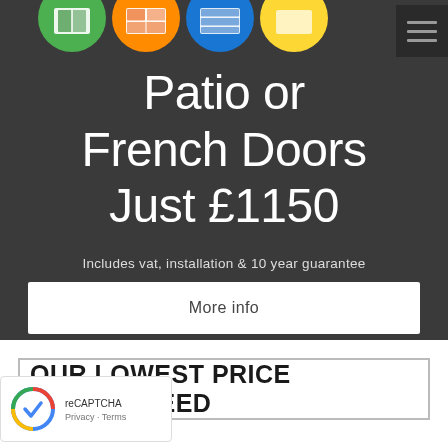[Figure (screenshot): Navigation icon circles row at top: green door icon, orange window icon, blue glass icon, yellow circle icon, partially cut off]
Patio or French Doors Just £1150
Includes vat, installation & 10 year guarantee
More info
OUR LOWEST PRICE GUARANTEED
[Figure (logo): reCAPTCHA badge with Privacy and Terms links]